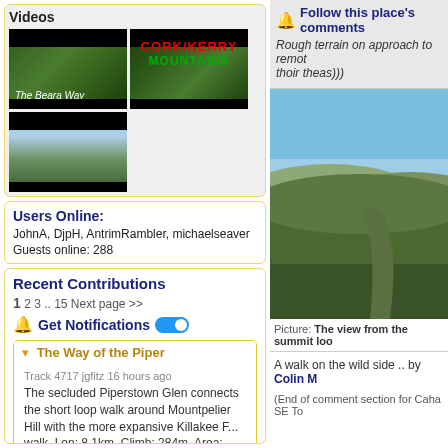Videos
[Figure (screenshot): Video thumbnails grid: 'The Beara Way' hiking video, 'Cork/Kerry Mountains' video, and a road/landscape driving video]
Users Online: JohnA, DjpH, AntrimRambler, michaelseaver
Guests online: 288
Recent Contributions
1 2 3 .. 15 Next page >>
Get Notifications
The Way of the Piper
Track 4717 jgfitz 16 hours ago
The secluded Piperstown Glen connects the short loop walk around Mountpelier Hill with the more expansive Killakee F... walk, Len: 8.1km, Climb: 284m, Area: Mountpelier Hill, Dublin (Ireland)
Follow this place's comments
Rough terrain on approach to remot thoir theas)))
[Figure (photo): Landscape photo showing a green hillside valley under a blue sky, taken from a high vantage point]
Picture: The view from the summit loo
A walk on the wild side .. by Colin M
(End of comment section for Caha SE To